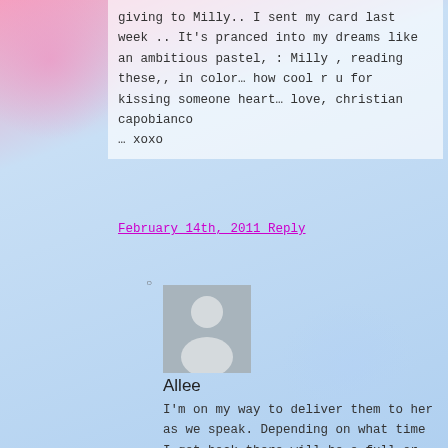giving to Milly.. I sent my card last week .. It’s pranced into my dreams like an ambitious pastel, : Milly , reading these,, in color… how cool r u for kissing someone heart… love, christian capobianco
… xoxo
February 14th, 2011 Reply
[Figure (photo): Default user avatar placeholder - grey rectangle with white silhouette of a person]
Allee
I’m on my way to deliver them to her as we speak. Depending on what time I get back there will be a full or at least a partial report here tomorrow. HAPPY V-DAY TO U 2!